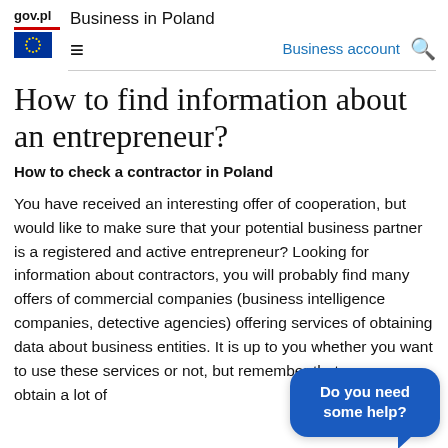gov.pl  Business in Poland
Business account
How to find information about an entrepreneur?
How to check a contractor in Poland
You have received an interesting offer of cooperation, but would like to make sure that your potential business partner is a registered and active entrepreneur? Looking for information about contractors, you will probably find many offers of commercial companies (business intelligence companies, detective agencies) offering services of obtaining data about business entities. It is up to you whether you want to use these services or not, but remember that you can obtain a lot of
[Figure (other): Blue chat bubble with text 'Do you need some help?']